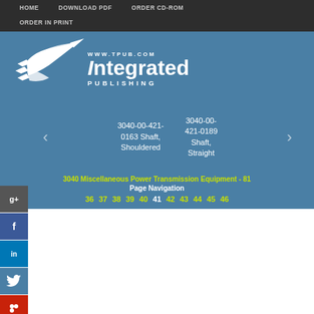HOME   DOWNLOAD PDF   ORDER CD-ROM   ORDER IN PRINT
[Figure (logo): Integrated Publishing logo with bird/arrow graphic and text WWW.TPUB.COM Integrated PUBLISHING on blue background]
3040-00-421-0163 Shaft, Shouldered
3040-00-421-0189 Shaft, Straight
3040 Miscellaneous Power Transmission Equipment - 81
Page Navigation
36 37 38 39 40 41 42 43 44 45 46